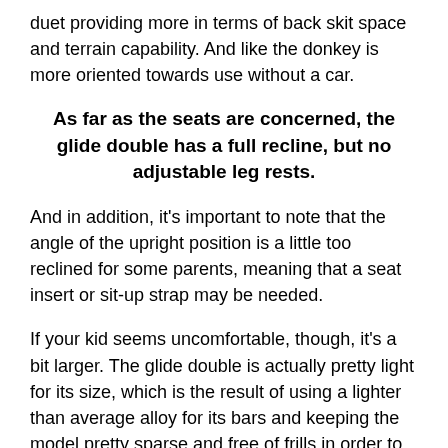duet providing more in terms of back skit space and terrain capability. And like the donkey is more oriented towards use without a car.
As far as the seats are concerned, the glide double has a full recline, but no adjustable leg rests.
And in addition, it's important to note that the angle of the upright position is a little too reclined for some parents, meaning that a seat insert or sit-up strap may be needed.
If your kid seems uncomfortable, though, it's a bit larger. The glide double is actually pretty light for its size, which is the result of using a lighter than average alloy for its bars and keeping the model pretty sparse and free of frills in order to focus almost exclusively on driving performance, which is where the model really shines with strong suspension, 16 inch rear wheels and a single 12-inch front wheel that makes it an incredible terrain capable, two